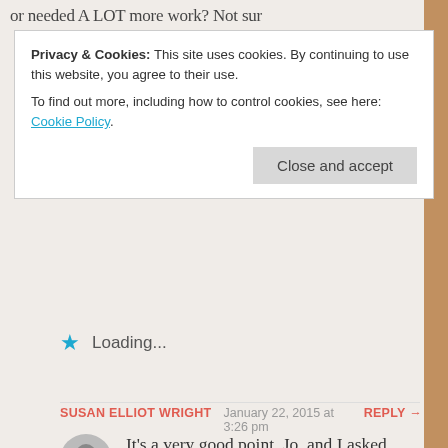or needed A LOT more work? Not sur
Privacy & Cookies: This site uses cookies. By continuing to use this website, you agree to their use.
To find out more, including how to control cookies, see here: Cookie Policy
Close and accept
Loading...
SUSAN ELLIOT WRIGHT  January 22, 2015 at 3:26 pm  REPLY →
It's a very good point, Jo, and I asked myself the same question. If this was Novel 1, my next step would be to pay for professional advice from a critique service such as The Literary Consultancy or a private editor (which is in fact exactly what I did with Novel 1!) I think it cost about £300, and I could ill afford it, but it was money well spent. As for